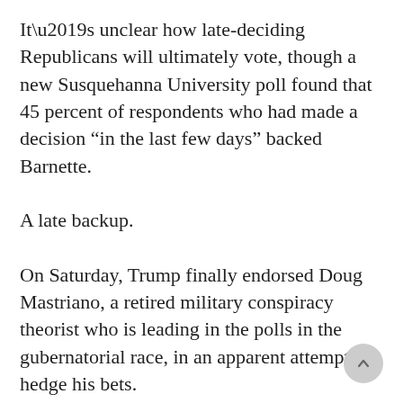It’s unclear how late-deciding Republicans will ultimately vote, though a new Susquehanna University poll found that 45 percent of respondents who had made a decision “in the last few days” backed Barnette.
A late backup.
On Saturday, Trump finally endorsed Doug Mastriano, a retired military conspiracy theorist who is leading in the polls in the gubernatorial race, in an apparent attempt to hedge his bets.
“He’s clearly upset that he’s not doing well,” said David Urban, a political operative and an early Trump supporter who led the former president’s efforts to